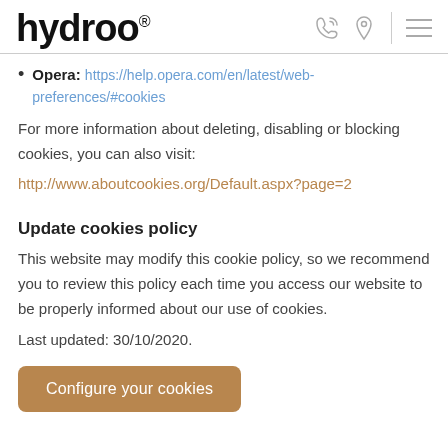hydroo®
Opera: https://help.opera.com/en/latest/web-preferences/#cookies
For more information about deleting, disabling or blocking cookies, you can also visit:
http://www.aboutcookies.org/Default.aspx?page=2
Update cookies policy
This website may modify this cookie policy, so we recommend you to review this policy each time you access our website to be properly informed about our use of cookies.
Last updated: 30/10/2020.
Configure your cookies